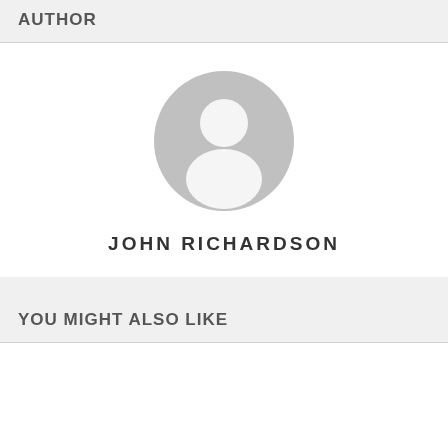AUTHOR
[Figure (illustration): Generic user avatar placeholder icon — grey circle with white silhouette of a person (head and shoulders)]
JOHN RICHARDSON
YOU MIGHT ALSO LIKE